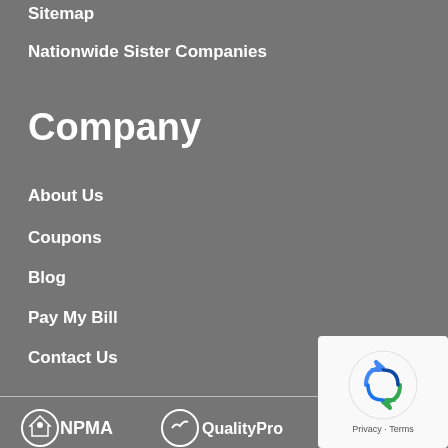Sitemap
Nationwide Sister Companies
Company
About Us
Coupons
Blog
Pay My Bill
Contact Us
[Figure (logo): NPMA logo — white circular emblem with house and person icon, text NPMA]
[Figure (logo): QualityPro logo — white circular emblem with checkmark, text QualityPro]
[Figure (logo): BBB Accredited Business logo — white diamond with B icon, text ACCREDITED]
[Figure (other): reCAPTCHA widget overlay in white box showing rotating arrow logo and Privacy · Terms footer]